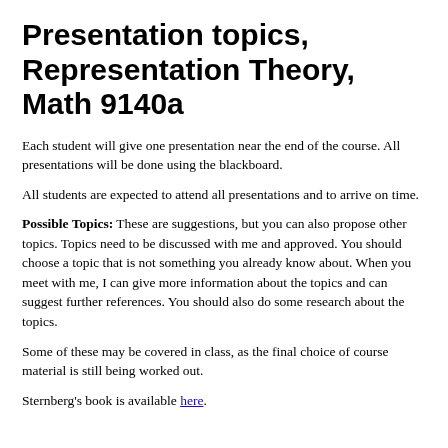Presentation topics, Representation Theory, Math 9140a
Each student will give one presentation near the end of the course. All presentations will be done using the blackboard.
All students are expected to attend all presentations and to arrive on time.
Possible Topics: These are suggestions, but you can also propose other topics. Topics need to be discussed with me and approved. You should choose a topic that is not something you already know about. When you meet with me, I can give more information about the topics and can suggest further references. You should also do some research about the topics.
Some of these may be covered in class, as the final choice of course material is still being worked out.
Sternberg's book is available here.